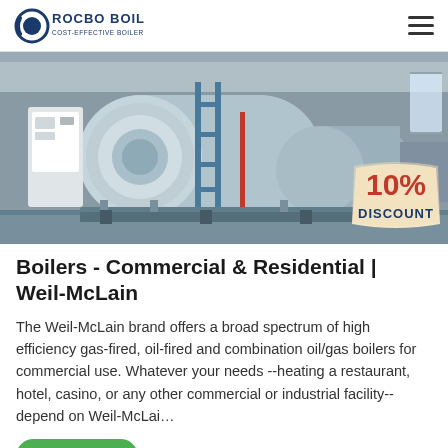ROCBO BOILER - COST-EFFECTIVE BOILER SUPPLIER
[Figure (photo): Industrial boiler room with large cylindrical horizontal gas/oil-fired boilers in a manufacturing facility. A 10% DISCOUNT badge is overlaid in the bottom right corner.]
Boilers - Commercial & Residential | Weil-McLain
The Weil-McLain brand offers a broad spectrum of high efficiency gas-fired, oil-fired and combination oil/gas boilers for commercial use. Whatever your needs --heating a restaurant, hotel, casino, or any other commercial or industrial facility--depend on Weil-McLai…
Get Price